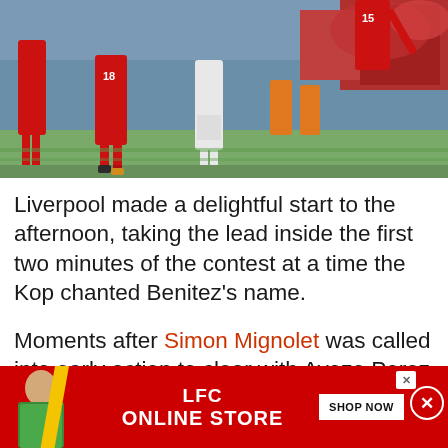[Figure (photo): Liverpool FC players in red jerseys celebrating on a football pitch, with players wearing numbers 18 and 15, crowd and orange-jacketed stewards visible in background]
Liverpool made a delightful start to the afternoon, taking the lead inside the first two minutes of the contest at a time the Kop chanted Benitez's name.
Moments after Simon Mignolet was called into early action to clear with Ayoze Perez lurking, a quick free-kick from Alberto Moreno found
[Figure (other): LFC Online Store advertisement banner in red with yellow diagonal stripe, man in green jumper, LFC ONLINE STORE text and SHOP NOW button]